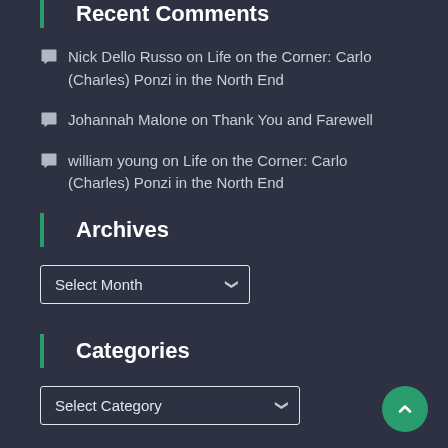Recent Comments
Nick Dello Russo on Life on the Corner: Carlo (Charles) Ponzi in the North End
Johannah Malone on Thank You and Farewell
william young on Life on the Corner: Carlo (Charles) Ponzi in the North End
Archives
Select Month
Categories
Select Category